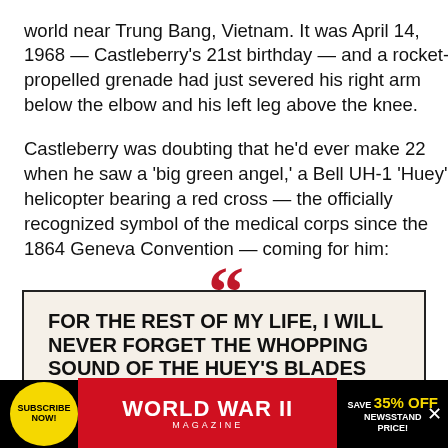world near Trung Bang, Vietnam. It was April 14, 1968 — Castleberry's 21st birthday — and a rocket-propelled grenade had just severed his right arm below the elbow and his left leg above the knee.
Castleberry was doubting that he'd ever make 22 when he saw a 'big green angel,' a Bell UH-1 'Huey' helicopter bearing a red cross — the officially recognized symbol of the medical corps since the 1864 Geneva Convention — coming for him:
FOR THE REST OF MY LIFE, I WILL NEVER FORGET THE WHOPPING SOUND OF THE HUEY'S BLADES
[Figure (other): World War II Magazine subscription advertisement banner with yellow Subscribe Now circle, red WORLD WAR II MAGAZINE title, and Save 35% Off Newsstand Price offer]